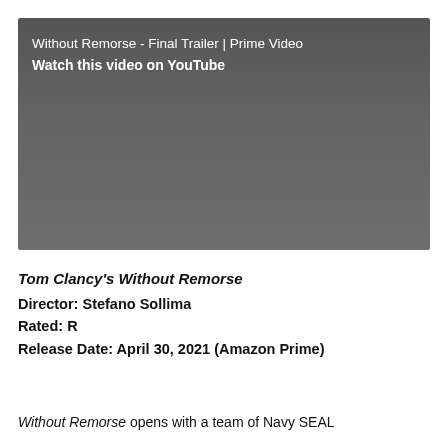[Figure (screenshot): YouTube video thumbnail showing 'Without Remorse - Final Trailer | Prime Video' with text 'Watch this video on YouTube' on a dark grey background]
Tom Clancy's Without Remorse
Director: Stefano Sollima
Rated: R
Release Date: April 30, 2021 (Amazon Prime)
Without Remorse opens with a team of Navy SEAL